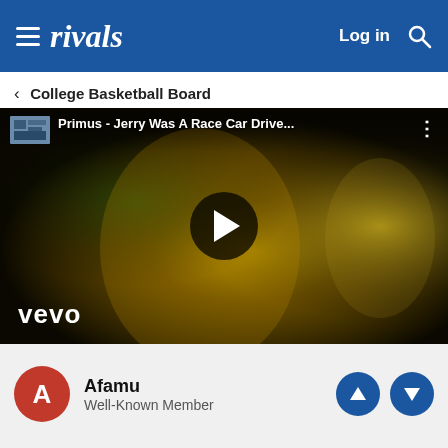rivals — Log in [search]
< College Basketball Board
[Figure (screenshot): YouTube video embed showing Primus - Jerry Was A Race Car Drive... music video thumbnail with a man's face lit in green/yellow light, VEVO logo in bottom left, large play button in center]
Afamu
Well-Known Member